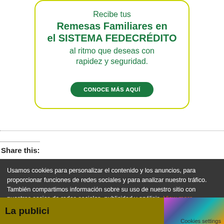[Figure (infographic): Advertisement card with yellow-green border on white background. Text reads: 'Recibe tus Remesas Familiares en el SISTEMA FEDECRÉDITO al ritmo que deseas con rapidez y seguridad.' with a green button 'CONOCE MÁS AQUÍ']
Share this:
Usamos cookies para personalizar el contenido y los anuncios, para proporcionar funciones de redes sociales y para analizar nuestro tráfico. También compartimos información sobre su uso de nuestro sitio con nuestros socios de redes sociales, publicidad y análisis. View more
Cookies settings
✓ Aceptar
[Figure (infographic): Bottom advertisement banner with dark golden/olive background showing partial text 'La publici...' in bold black and colorful decorative imagery on the right.]
Cookies settings